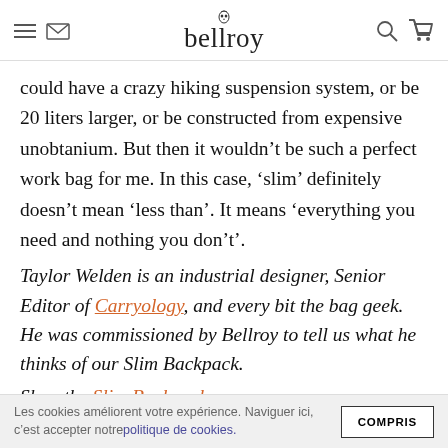bellroy
could have a crazy hiking suspension system, or be 20 liters larger, or be constructed from expensive unobtanium. But then it wouldn't be such a perfect work bag for me. In this case, ‘slim’ definitely doesn’t mean ‘less than’. It means ‘everything you need and nothing you don’t’.
Taylor Welden is an industrial designer, Senior Editor of Carryology, and every bit the bag geek. He was commissioned by Bellroy to tell us what he thinks of our Slim Backpack.
Shop the Slim Backpack.
Les cookies améliorent votre expérience. Naviguer ici, c’est accepter notre politique de cookies.